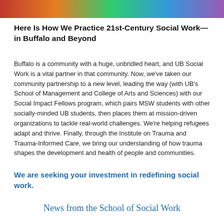[Figure (photo): Colorful image strip at the top of the page]
Here Is How We Practice 21st-Century Social Work—in Buffalo and Beyond
Buffalo is a community with a huge, unbridled heart, and UB Social Work is a vital partner in that community. Now, we've taken our community partnership to a new level, leading the way (with UB's School of Management and College of Arts and Sciences) with our Social Impact Fellows program, which pairs MSW students with other socially-minded UB students, then places them at mission-driven organizations to tackle real-world challenges. We're helping refugees adapt and thrive. Finally, through the Institute on Trauma and Trauma-Informed Care, we bring our understanding of how trauma shapes the development and health of people and communities.
We are seeking your investment in redefining social work.
News from the School of Social Work